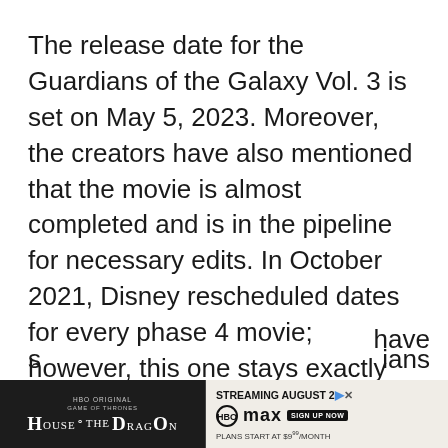The release date for the Guardians of the Galaxy Vol. 3 is set on May 5, 2023. Moreover, the creators have also mentioned that the movie is almost completed and is in the pipeline for necessary edits. In October 2021, Disney rescheduled dates for every phase 4 movie; however, this one stays exactly where it is.
The production house and the director said that they are not going to delay anymore. Eventually, one of the most popular Marvel franchises and creators don't want to delay so much. The creators announced that in the 2022 December Holidays, they would launch s[omething]... [they] have b[een]... [Guardi]ans
[Figure (other): Advertisement banner for HBO Max's House of the Dragon series. Left side shows the HBO Original logo, Game of Thrones branding, and 'HOUSE OF THE DRAGON' title on dark background. Right side shows 'STREAMING AUGUST 2' with HBO Max logo, 'SIGN UP NOW' button, and 'PLANS START AT $9.99/MONTH' text on light background.]